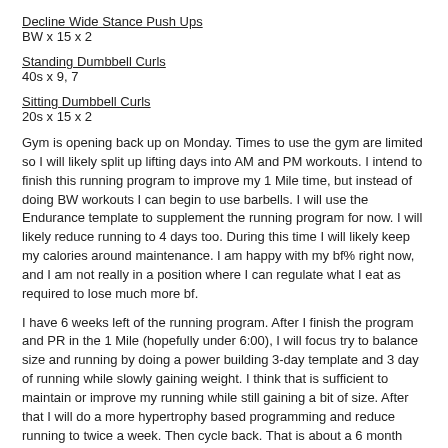Decline Wide Stance Push Ups
BW x 15 x 2
Standing Dumbbell Curls
40s x 9, 7
Sitting Dumbbell Curls
20s x 15 x 2
Gym is opening back up on Monday. Times to use the gym are limited so I will likely split up lifting days into AM and PM workouts. I intend to finish this running program to improve my 1 Mile time, but instead of doing BW workouts I can begin to use barbells. I will use the Endurance template to supplement the running program for now. I will likely reduce running to 4 days too. During this time I will likely keep my calories around maintenance. I am happy with my bf% right now, and I am not really in a position where I can regulate what I eat as required to lose much more bf.
I have 6 weeks left of the running program. After I finish the program and PR in the 1 Mile (hopefully under 6:00), I will focus try to balance size and running by doing a power building 3-day template and 3 day of running while slowly gaining weight. I think that is sufficient to maintain or improve my running while still gaining a bit of size. After that I will do a more hypertrophy based programming and reduce running to twice a week. Then cycle back. That is about a 6 month plan.
PM Workout
1 Mile / 8:24 @6
200m x 6 (0:40) 2/ 90 second rest
1 Mile / 7:42 @6